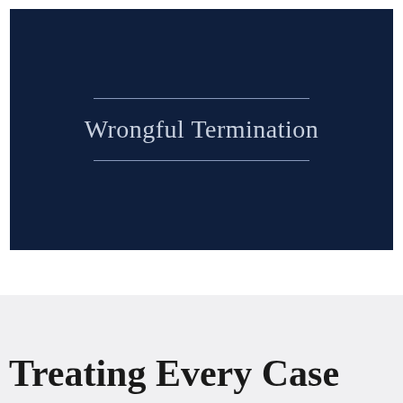[Figure (illustration): Dark navy blue banner with a horizontal decorative line above and below the text 'Wrongful Termination' in serif font, centered on the banner.]
Treating Every Case